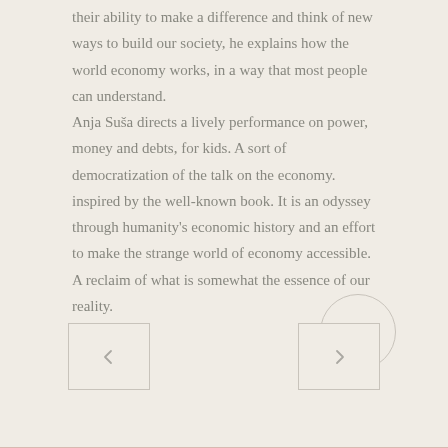their ability to make a difference and think of new ways to build our society, he explains how the world economy works, in a way that most people can understand. Anja Suša directs a lively performance on power, money and debts, for kids. A sort of democratization of the talk on the economy. inspired by the well-known book. It is an odyssey through humanity's economic history and an effort to make the strange world of economy accessible. A reclaim of what is somewhat the essence of our reality.